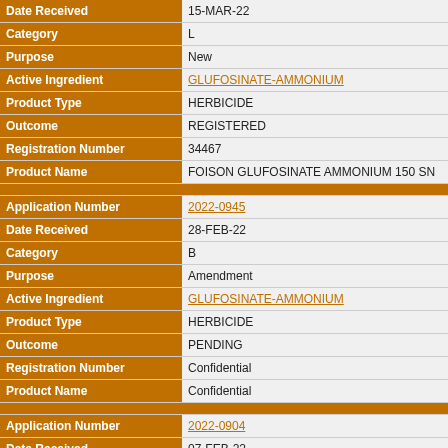| Field | Value |
| --- | --- |
| Date Received | 15-MAR-22 |
| Category | L |
| Purpose | New |
| Active Ingredient | GLUFOSINATE-AMMONIUM |
| Product Type | HERBICIDE |
| Outcome | REGISTERED |
| Registration Number | 34467 |
| Product Name | FOISON GLUFOSINATE AMMONIUM 150 SN |
| Application Number | 2022-0945 |
| Date Received | 28-FEB-22 |
| Category | B |
| Purpose | Amendment |
| Active Ingredient | GLUFOSINATE-AMMONIUM |
| Product Type | HERBICIDE |
| Outcome | PENDING |
| Registration Number | Confidential |
| Product Name | Confidential |
| Application Number | 2022-0904 |
| Date Received | 07-FEB-22 |
| Category | L |
| Purpose | New |
| Active Ingredient | GLUFOSINATE-AMMONIUM |